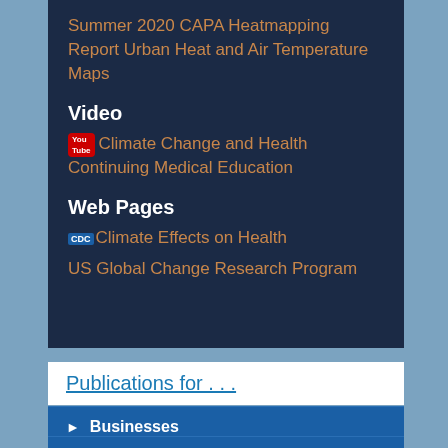Summer 2020 CAPA Heatmapping Report Urban Heat and Air Temperature Maps
Video
Climate Change and Health Continuing Medical Education
Web Pages
Climate Effects on Health
US Global Change Research Program
Publications for . . .
Businesses
Community Partners
Facility Managers